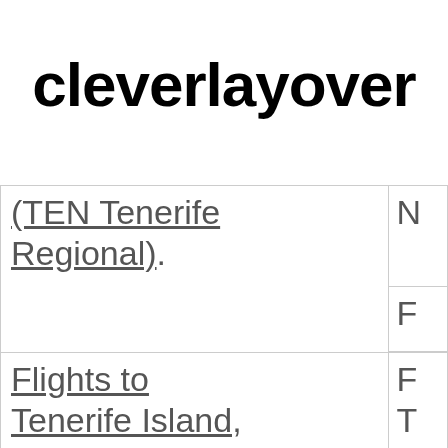cleverlayover
| (TEN Tenerife Regional) | N
F |
| Flights to Tenerife Island, Canary Islands (TFS Sur Reina... | F
T
N
C |